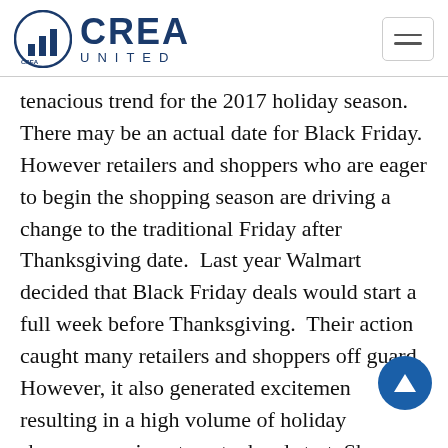CREA UNITED
tenacious trend for the 2017 holiday season.  There may be an actual date for Black Friday.  However retailers and shoppers who are eager to begin the shopping season are driving a change to the traditional Friday after Thanksgiving date.  Last year Walmart decided that Black Friday deals would start a full week before Thanksgiving.  Their action caught many retailers and shoppers off guard.  However, it also generated excitement resulting in a high volume of holiday shoppers anxious to get a head start. Shoppers and